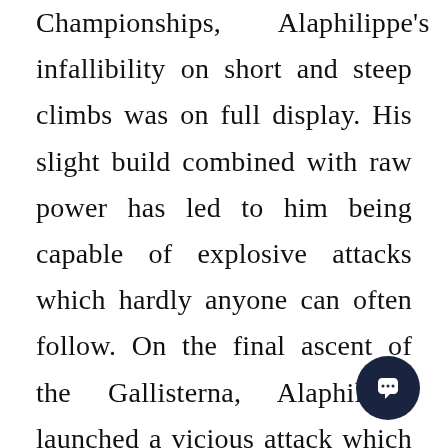Championships, Alaphilippe's infallibility on short and steep climbs was on full display. His slight build combined with raw power has led to him being capable of explosive attacks which hardly anyone can often follow. On the final ascent of the Gallisterna, Alaphilippe launched a vicious attack which even riders of the stature of Wout van Aert and Marc Hirschi were unable to respond and he then raced onto the Imola